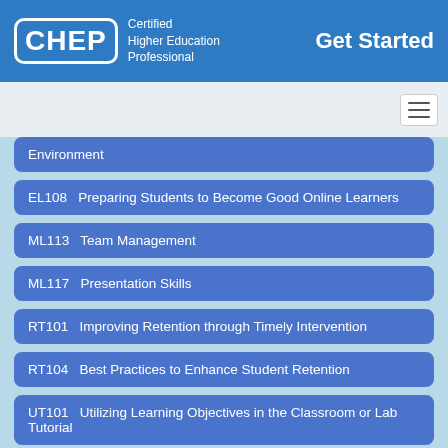CHEP Certified Higher Education Professional — Get Started
Environment
EL108   Preparing Students to Become Good Online Learners
ML113   Team Management
ML117   Presentation Skills
RT101   Improving Retention through Timely Intervention
RT104   Best Practices to Enhance Student Retention
UT101   Utilizing Learning Objectives in the Classroom or Lab Tutorial